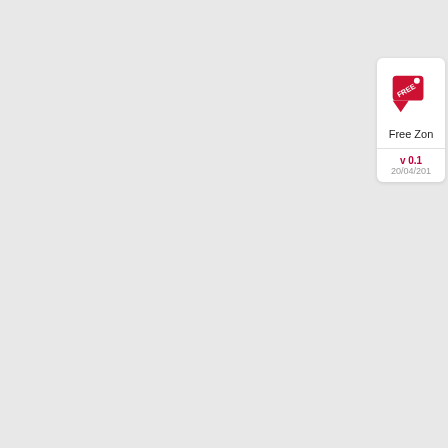[Figure (screenshot): Card showing Free Zone plugin with red price tag icon labeled FREE, version v 0.1, date 20/04/201x]
[Figure (screenshot): Card showing Doc Spo plugin with layered pages icon in magenta/purple, version v 0.1, date 08/05/201x]
Scroll to top